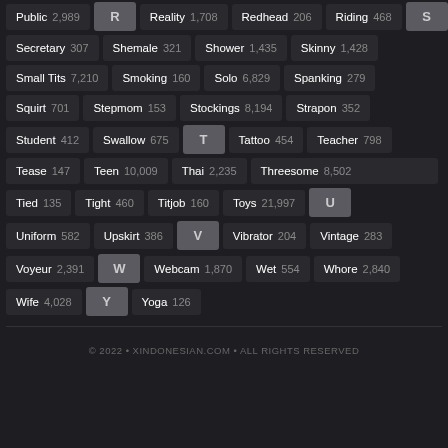Public 2,989 | R | Reality 1,708 | Redhead 206 | Riding 468 | S
Secretary 307 | Shemale 321 | Shower 1,435 | Skinny 1,428
Small Tits 7,210 | Smoking 160 | Solo 6,829 | Spanking 279
Squirt 701 | Stepmom 153 | Stockings 8,194 | Strapon 352
Student 412 | Swallow 675 | T | Tattoo 454 | Teacher 798
Tease 147 | Teen 10,009 | Thai 2,235 | Threesome 8,502
Tied 135 | Tight 460 | Titjob 160 | Toys 21,997 | U
Uniform 582 | Upskirt 386 | V | Vibrator 204 | Vintage 283
Voyeur 2,391 | W | Webcam 1,870 | Wet 554 | Whore 2,840
Wife 4,028 | Y | Yoga 126
© 2022 • XINDONESIAN.COM • ALL RIGHTS RESERVED